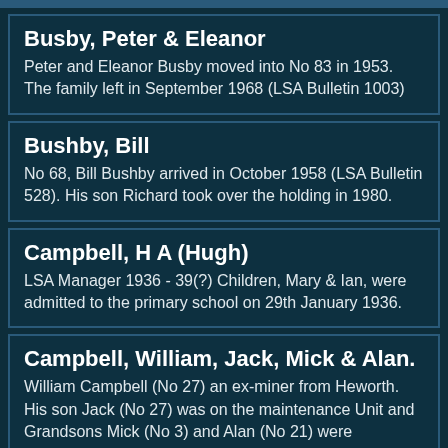Busby, Peter & Eleanor
Peter and Eleanor Busby moved into No 83 in 1953. The family left in September 1968 (LSA Bulletin 1003)
Bushby, Bill
No 68, Bill Bushby arrived in October 1958 (LSA Bulletin 528). His son Richard took over the holding in 1980.
Campbell, H A (Hugh)
LSA Manager 1936 - 39(?) Children, Mary & Ian, were admitted to the primary school on 29th January 1936.
Campbell, William, Jack, Mick & Alan.
William Campbell (No 27) an ex-miner from Heworth. His son Jack (No 27) was on the maintenance Unit and Grandsons Mick (No 3) and Alan (No 21) were